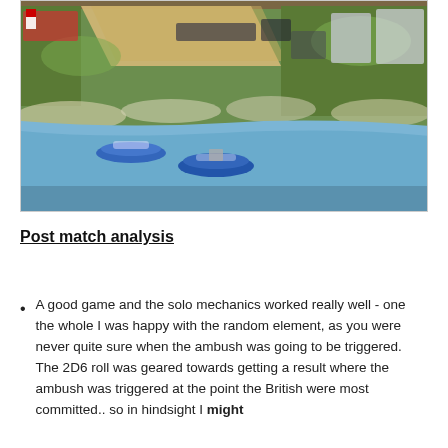[Figure (photo): Overhead photograph of a wargame tabletop showing miniature soldiers on a green battlefield with a road, a river/water area with two small boats, and various military unit miniatures positioned across the terrain.]
Post match analysis
A good game and the solo mechanics worked really well - one the whole I was happy with the random element, as you were never quite sure when the ambush was going to be triggered. The 2D6 roll was geared towards getting a result where the ambush was triggered at the point the British were most committed.. so in hindsight I might